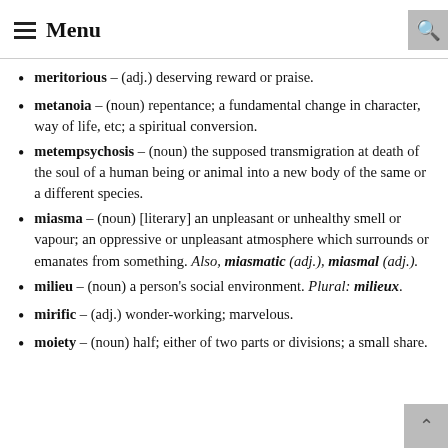Menu
meritorious – (adj.) deserving reward or praise.
metanoia – (noun) repentance; a fundamental change in character, way of life, etc; a spiritual conversion.
metempsychosis – (noun) the supposed transmigration at death of the soul of a human being or animal into a new body of the same or a different species.
miasma – (noun) [literary] an unpleasant or unhealthy smell or vapour; an oppressive or unpleasant atmosphere which surrounds or emanates from something. Also, miasmatic (adj.), miasmal (adj.).
milieu – (noun) a person's social environment. Plural: milieux.
mirific – (adj.) wonder-working; marvelous.
moiety – (noun) half; either of two parts or divisions; a small share.